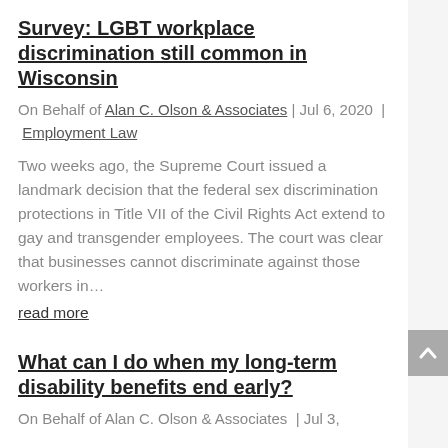Survey: LGBT workplace discrimination still common in Wisconsin
On Behalf of Alan C. Olson & Associates | Jul 6, 2020 | Employment Law
Two weeks ago, the Supreme Court issued a landmark decision that the federal sex discrimination protections in Title VII of the Civil Rights Act extend to gay and transgender employees. The court was clear that businesses cannot discriminate against those workers in…
read more
What can I do when my long-term disability benefits end early?
On Behalf of Alan C. Olson & Associates | Jul 3,